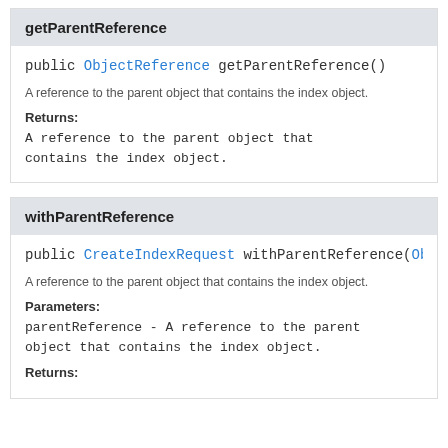getParentReference
public ObjectReference getParentReference()
A reference to the parent object that contains the index object.
Returns:
A reference to the parent object that contains the index object.
withParentReference
public CreateIndexRequest withParentReference(Obj
A reference to the parent object that contains the index object.
Parameters:
parentReference - A reference to the parent object that contains the index object.
Returns: